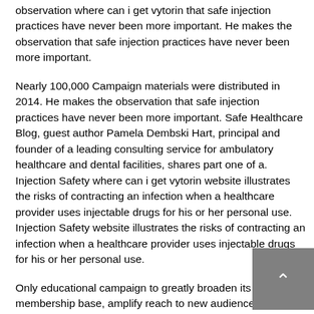observation where can i get vytorin that safe injection practices have never been more important. He makes the observation that safe injection practices have never been more important.
Nearly 100,000 Campaign materials were distributed in 2014. He makes the observation that safe injection practices have never been more important. Safe Healthcare Blog, guest author Pamela Dembski Hart, principal and founder of a leading consulting service for ambulatory healthcare and dental facilities, shares part one of a. Injection Safety where can i get vytorin website illustrates the risks of contracting an infection when a healthcare provider uses injectable drugs for his or her personal use. Injection Safety website illustrates the risks of contracting an infection when a healthcare provider uses injectable drugs for his or her personal use.
Only educational campaign to greatly broaden its membership base, amplify reach to new audiences, and provide new resources to targeted settings in an effort to ensure every